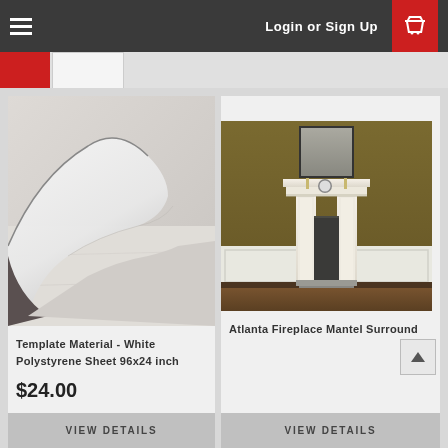Login or Sign Up
[Figure (photo): Template material - white polystyrene sheet, showing folded/curled white sheet material]
Template Material - White Polystyrene Sheet 96x24 inch
$24.00
VIEW DETAILS
[Figure (illustration): Atlanta Fireplace Mantel Surround product illustration showing a white mantel surround in a room with olive/brown walls]
Atlanta Fireplace Mantel Surround
VIEW DETAILS